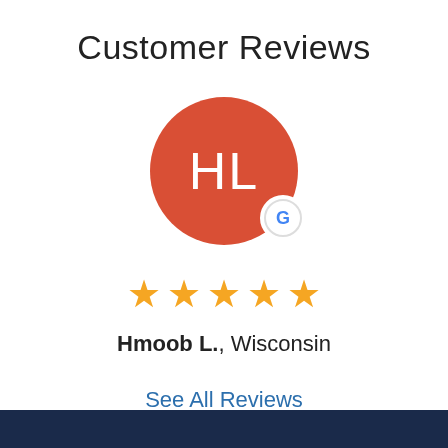Customer Reviews
[Figure (illustration): Circular avatar with initials HL on a red/orange background, with a Google badge (G) on the bottom right]
[Figure (other): Five gold star rating]
Hmoob L., Wisconsin
See All Reviews